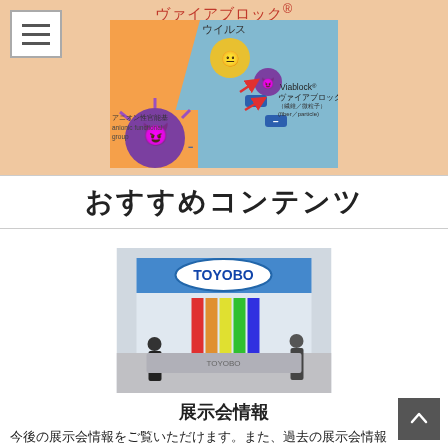ヴァイアブロック®
[Figure (illustration): Viablock® (ヴァイアブロック®) product illustration showing viruses (ウイルス) being blocked by anionic functional groups (アニオン性官能基 / anionic functional group) on Viablock® fibers/particles (繊維/微粒子 / fiber/particle). Purple and yellow cartoon virus characters with arrows showing repulsion from a blue diagonal barrier on an orange background.]
おすすめコンテンツ
[Figure (photo): Photo of a TOYOBO exhibition booth at a trade show, showing the TOYOBO logo sign, colorful display panels, and visitors at the booth.]
展示会情報
今後の展示会情報をご覧いただけます。また、過去の展示会情報も掲載しています。